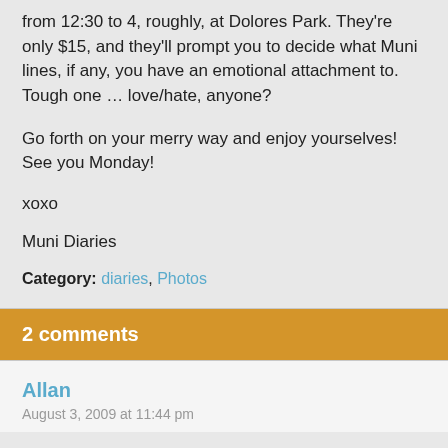from 12:30 to 4, roughly, at Dolores Park. They're only $15, and they'll prompt you to decide what Muni lines, if any, you have an emotional attachment to. Tough one … love/hate, anyone?
Go forth on your merry way and enjoy yourselves! See you Monday!
xoxo
Muni Diaries
Category: diaries, Photos
2 comments
Allan
August 3, 2009 at 11:44 pm